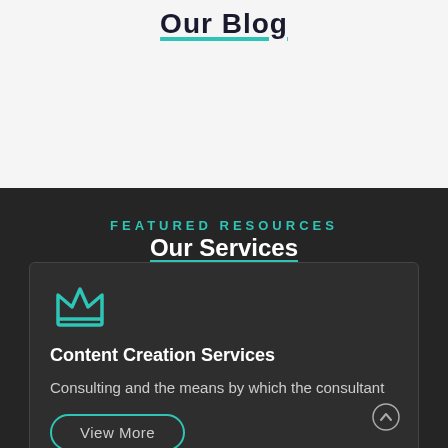Our Blog
FEATURED RESOURCES
Our Services
[Figure (illustration): Teal crown icon]
Content Creation Services
Consulting and the means by which the consultant
View More